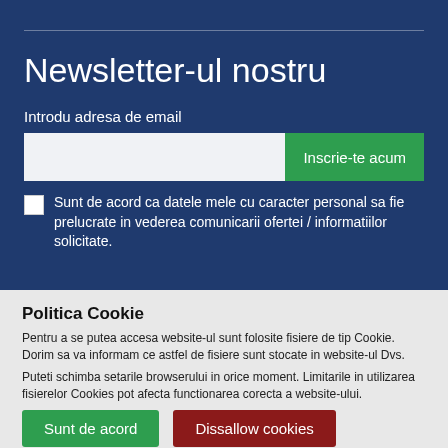Newsletter-ul nostru
Introdu adresa de email
[Figure (screenshot): Email input field with green 'Inscrie-te acum' subscribe button]
Sunt de acord ca datele mele cu caracter personal sa fie prelucrate in vederea comunicarii ofertei / informatiilor solicitate.
Politica Cookie
Pentru a se putea accesa website-ul sunt folosite fisiere de tip Cookie. Dorim sa va informam ce astfel de fisiere sunt stocate in website-ul Dvs.
Puteti schimba setarile browserului in orice moment. Limitarile in utilizarea fisierelor Cookies pot afecta functionarea corecta a website-ului.
Sunt de acord
Dissallow cookies